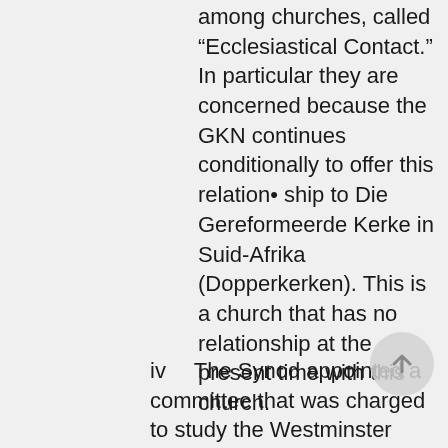among churches, called “Ecclesiastical Contact.” In particular they are concerned because the GKN continues conditionally to offer this relationship to Die Gereformeerde Kerke in Suid-Afrika (Dopperkerken). This is a church that has no relationship at the present time with this church.
iv   The Synod appointed a committee that was charged to study the Westminster Standards to ascertain